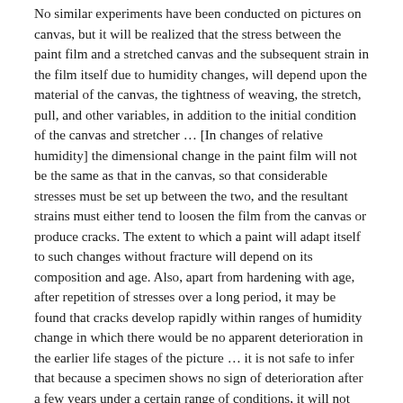No similar experiments have been conducted on pictures on canvas, but it will be realized that the stress between the paint film and a stretched canvas and the subsequent strain in the film itself due to humidity changes, will depend upon the material of the canvas, the tightness of weaving, the stretch, pull, and other variables, in addition to the initial condition of the canvas and stretcher … [In changes of relative humidity] the dimensional change in the paint film will not be the same as that in the canvas, so that considerable stresses must be set up between the two, and the resultant strains must either tend to loosen the film from the canvas or produce cracks. The extent to which a paint will adapt itself to such changes without fracture will depend on its composition and age. Also, apart from hardening with age, after repetition of stresses over a long period, it may be found that cracks develop rapidly within ranges of humidity change in which there would be no apparent deterioration in the earlier life stages of the picture … it is not safe to infer that because a specimen shows no sign of deterioration after a few years under a certain range of conditions, it will not deteriorate and deteriorate rapidly a few …